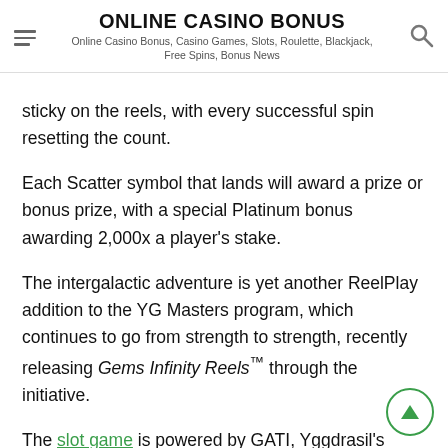ONLINE CASINO BONUS
Online Casino Bonus, Casino Games, Slots, Roulette, Blackjack, Free Spins, Bonus News
sticky on the reels, with every successful spin resetting the count.
Each Scatter symbol that lands will award a prize or bonus prize, with a special Platinum bonus awarding 2,000x a player's stake.
The intergalactic adventure is yet another ReelPlay addition to the YG Masters program, which continues to go from strength to strength, recently releasing Gems Infinity Reels™ through the initiative.
The slot game is powered by GATI, Yggdrasil's state-of-the-art technology which enables partners to employ the preconfigured, regulation-ready, standardised development